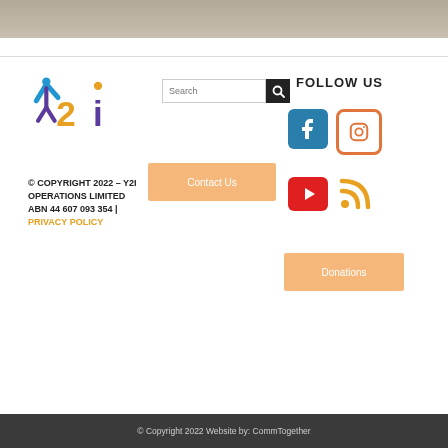[Figure (photo): Stone/rock texture photograph strip at top]
[Figure (logo): Y2I logo with stylized figure and text]
© COPYRIGHT 2022 – Y2I OPERATIONS LIMITED ABN 44 607 093 354 | PRIVACY POLICY
[Figure (other): Search bar with text input and black search button]
[Figure (other): Contact Us button (peach/orange color)]
FOLLOW US
[Figure (other): Facebook icon (blue rounded square)]
[Figure (other): Instagram icon (orange rounded square outline)]
[Figure (other): YouTube play button icon (red)]
[Figure (other): RSS feed icon (orange)]
[Figure (other): Donations button (peach/orange color)]
© Copyright 2022 Website by: CommTogether